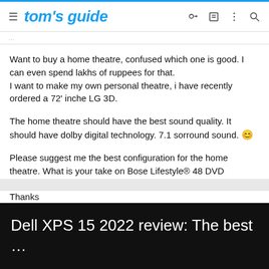tom's guide
Want to buy a home theatre, confused which one is good. I can even spend lakhs of ruppees for that.
I want to make my own personal theatre, i have recently ordered a 72' inche LG 3D.
The home theatre should have the best sound quality. It should have dolby digital technology. 7.1 sorround sound. 🙂
Please suggest me the best configuration for the home theatre. What is your take on Bose Lifestyle® 48 DVD Entertainment System?
Thanks
[Figure (screenshot): Ad banner at bottom showing Dell XPS 15 2022 review text on black background]